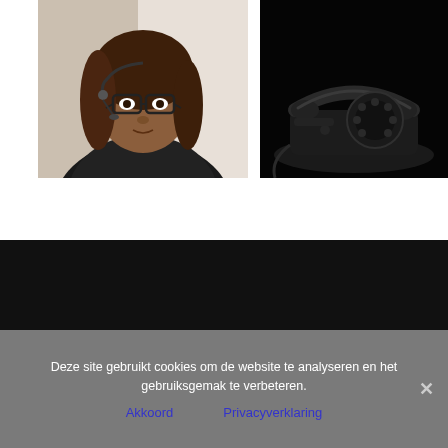[Figure (photo): Portrait of a woman with glasses and a headset microphone, brown hair, against a light grey background]
[Figure (photo): Vintage black rotary telephone on a dark background]
Deze site gebruikt cookies om de website te analyseren en het gebruiksgemak te verbeteren.
Akkoord   Privacyverklaring